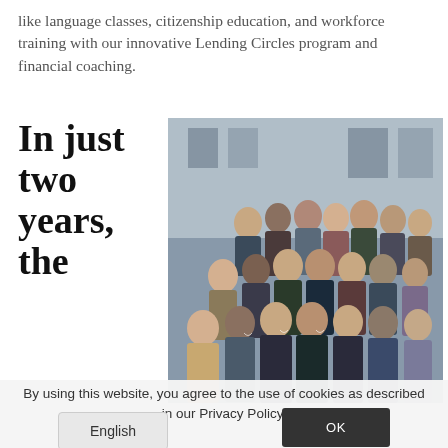like language classes, citizenship education, and workforce training with our innovative Lending Circles program and financial coaching.
In just two years, the
[Figure (photo): Group photo of approximately 25 people posing together outdoors in front of a building, arranged in multiple rows]
By using this website, you agree to the use of cookies as described in our Privacy Policy.
English
OK